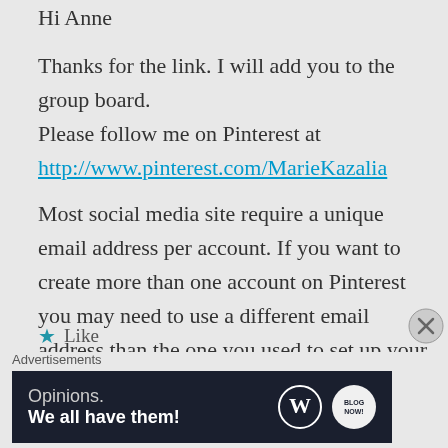Hi Anne
Thanks for the link. I will add you to the group board.
Please follow me on Pinterest at
http://www.pinterest.com/MarieKazalia
Most social media site require a unique email address per account. If you want to create more than one account on Pinterest you may need to use a different email address than the one you used to set up your current account.
★ Like
Advertisements
[Figure (screenshot): WordPress advertisement banner with text 'Opinions. We all have them!' and WordPress and another logo on dark navy background]